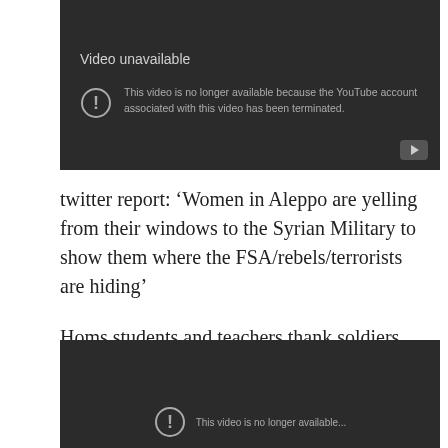[Figure (screenshot): YouTube video unavailable screen with dark background, exclamation circle icon, title 'Video unavailable', message 'This video is no longer available because the YouTube account associated with this video has been terminated.', and YouTube play button icon in bottom right.]
twitter report: ‘Women in Aleppo are yelling from their windows to the Syrian Military to show them where the FSA/rebels/terrorists are hiding’
Homs students and teachers thank soldiers
[Figure (screenshot): Second YouTube video unavailable screen, partially visible at bottom of page, dark background with circle icon and partial text visible.]